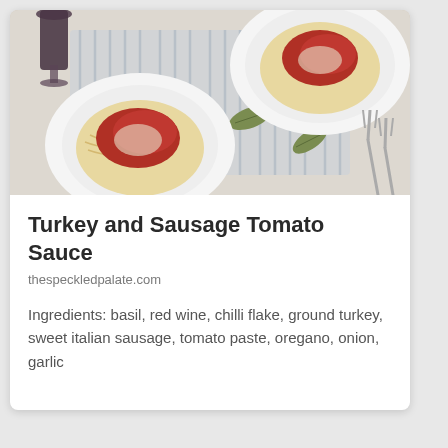[Figure (photo): Overhead shot of two white bowls of spaghetti with tomato meat sauce and grated cheese on a striped cloth napkin with bay leaves, a glass of red wine and forks visible]
Turkey and Sausage Tomato Sauce
thespeckledpalate.com
Ingredients: basil, red wine, chilli flake, ground turkey, sweet italian sausage, tomato paste, oregano, onion, garlic